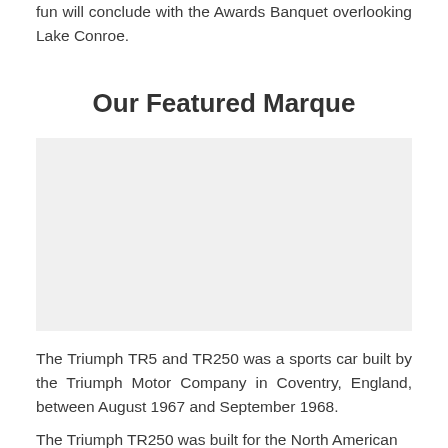fun will conclude with the Awards Banquet overlooking Lake Conroe.
Our Featured Marque
[Figure (photo): Photograph of a Triumph TR5 or TR250 sports car (image area appears blank/missing in original)]
The Triumph TR5 and TR250 was a sports car built by the Triumph Motor Company in Coventry, England, between August 1967 and September 1968.
The Triumph TR250 was built for the North American